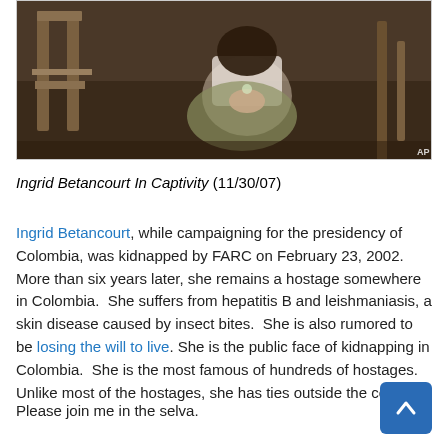[Figure (photo): Photograph of Ingrid Betancourt in captivity, showing a woman seated on the ground in a jungle setting, with a wooden structure visible. AP watermark in lower right corner.]
Ingrid Betancourt In Captivity (11/30/07)
Ingrid Betancourt, while campaigning for the presidency of Colombia, was kidnapped by FARC on February 23, 2002.  More than six years later, she remains a hostage somewhere in Colombia.  She suffers from hepatitis B and leishmaniasis, a skin disease caused by insect bites.  She is also rumored to be losing the will to live. She is the public face of kidnapping in Colombia.  She is the most famous of hundreds of hostages.  Unlike most of the hostages, she has ties outside the country.
Please join me in the selva.